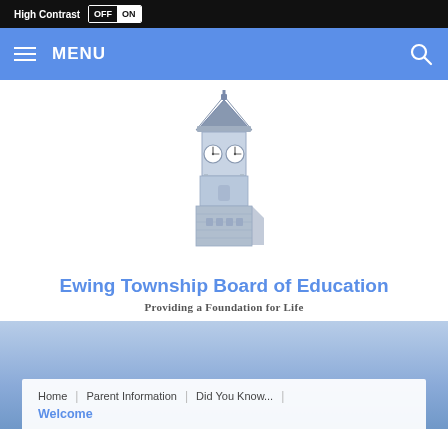High Contrast  OFF  ON
≡ MENU
[Figure (illustration): Clock tower building illustration in blue/gray tones — a square brick tower base with arched windows and a pagoda-style roof cap, showing two clock faces on the front and side]
Ewing Township Board of Education
Providing a Foundation for Life
Home | Parent Information | Did You Know... |
Welcome